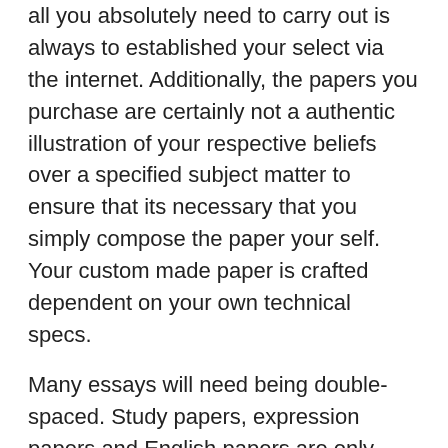all you absolutely need to carry out is always to established your select via the internet. Additionally, the papers you purchase are certainly not a authentic illustration of your respective beliefs over a specified subject matter to ensure that its necessary that you simply compose the paper your self. Your custom made paper is crafted dependent on your own technical specs.
Many essays will need being double-spaced. Study papers, expression papers and English papers are only some from the assignments college students could very well receive very good help for. Pupils can certainly be alternatively artistic with reference to essay producing.
For numerous pupils, researching for free sample papers is regarded as a considerable usually means of uncovering the tactic by which the